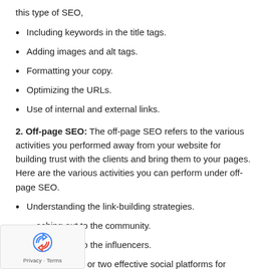this type of SEO,
Including keywords in the title tags.
Adding images and alt tags.
Formatting your copy.
Optimizing the URLs.
Use of internal and external links.
2. Off-page SEO: The off-page SEO refers to the various activities you performed away from your website for building trust with the clients and bring them to your pages. Here are the various activities you can perform under off-page SEO.
Understanding the link-building strategies.
Reaching out to the community.
Reaching out to the influencers.
Selecting one or two effective social platforms for